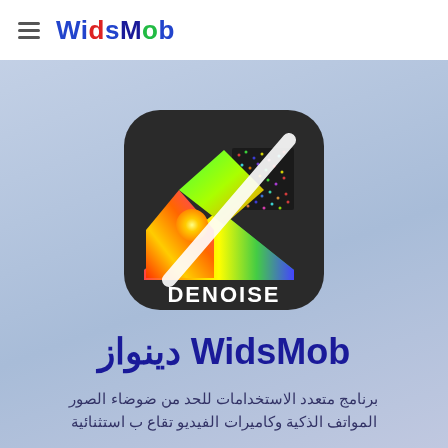≡ WidsMob
[Figure (logo): WidsMob Denoise app icon — dark rounded square background with colorful photo/pixel art and a white diagonal slash/brush, text DENOISE below in white]
WidsMob دينواز
برنامج متعدد الاستخدامات للحد من ضوضاء الصور المواتف الذكية وكاميرات الفيديو تقاع ب استثنائية